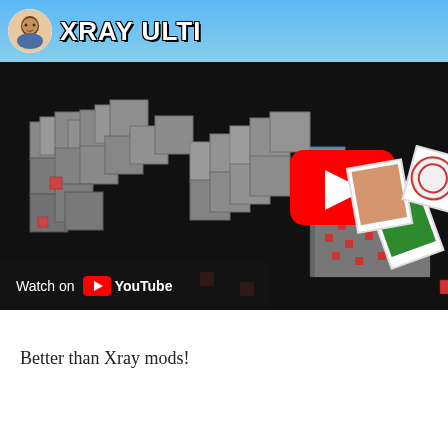[Figure (screenshot): YouTube video thumbnail for 'Xray Ultimate Resource Pack' Minecraft video. Shows blocky Minecraft stone blocks floating in dark void, with a YouTube play button overlay (red rounded rectangle with white triangle). Bottom left shows 'Watch on YouTube' bar. Top bar has a cartoon avatar and 'XRAY ULTI...' title text in bold white with black outline on blue sky background. Right side shows Minecraft character holding items.]
Better than Xray mods!